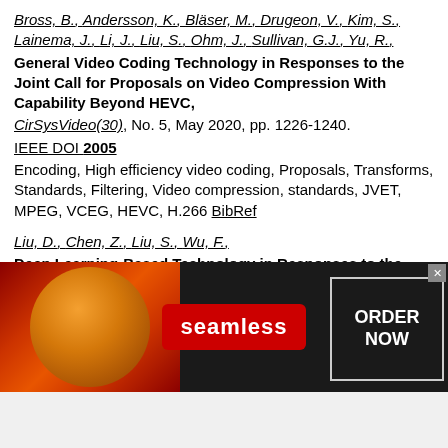Bross, B., Andersson, K., Bläser, M., Drugeon, V., Kim, S., Lainema, J., Li, J., Liu, S., Ohm, J., Sullivan, G.J., Yu, R., General Video Coding Technology in Responses to the Joint Call for Proposals on Video Compression With Capability Beyond HEVC, CirSysVideo(30), No. 5, May 2020, pp. 1226-1240. IEEE DOI 2005 Encoding, High efficiency video coding, Proposals, Transforms, Standards, Filtering, Video compression, standards, JVET, MPEG, VCEG, HEVC, H.266 BibRef
Liu, D., Chen, Z., Liu, S., Wu, F., Deep Learning-Based Technology in Responses to the Joint Call for Proposals on Video Compression With Capability Beyond HEVC, CirSysVideo(30), No. 5, May 2020, pp. 1267-1280. IEEE DOI 2005 Image coding, Tools, Deep learning, High efficiency video Proposals, Neural networks, Convolutional neural
[Figure (screenshot): Advertisement banner for Seamless food ordering service showing pizza image on left, Seamless logo in center on red badge, and ORDER NOW button on right with close button, on dark background. Infolinks label in top-left corner.]